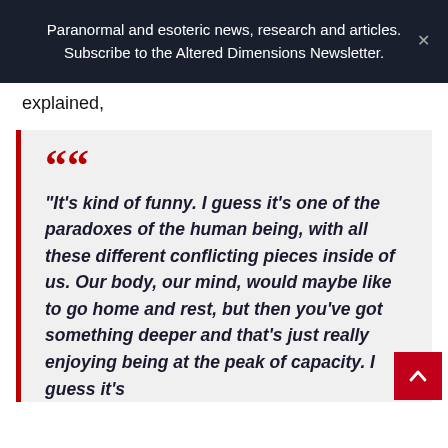Paranormal and esoteric news, research and articles. Subscribe to the Altered Dimensions Newsletter.
explained,
“It’s kind of funny. I guess it’s one of the paradoxes of the human being, with all these different conflicting pieces inside of us. Our body, our mind, would maybe like to go home and rest, but then you’ve got something deeper and that’s just really enjoying being at the peak of capacity. I guess it’s